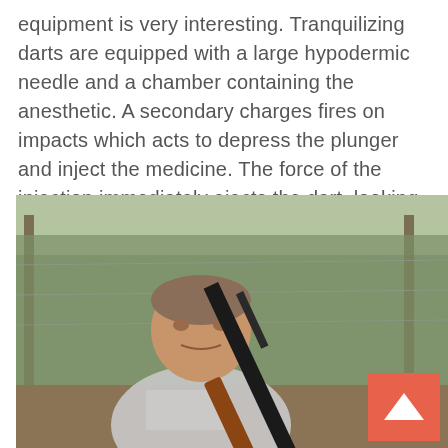equipment is very interesting. Tranquilizing darts are equipped with a large hypodermic needle and a chamber containing the anesthetic. A secondary charges fires on impacts which acts to depress the plunger and inject the medicine. The force of the injection immediately ejects the dart, looking for all the world as if the dart simply bounced off the target.
[Figure (photo): A man in a white t-shirt holding a tranquilizer rifle, standing outdoors in front of a fence with brush/trees in the background. An orange scroll-up button is visible in the bottom-right corner of the image.]